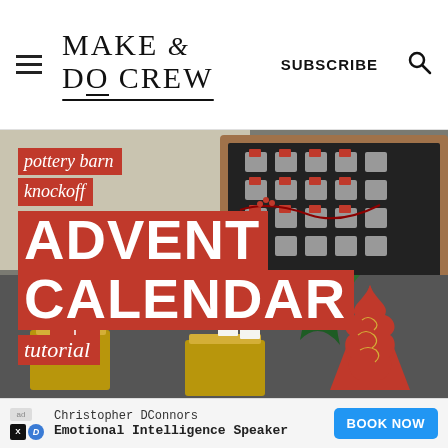Make & Do Crew — SUBSCRIBE
[Figure (photo): Blog article hero image for 'pottery barn knockoff ADVENT CALENDAR tutorial' on Make & Do Crew website. Shows an advent calendar made from small metal buckets on a dark chalkboard in a wooden frame, and decorative Christmas items including red fabric tree and wrapped gifts with twine tags.]
Christopher DConnors
Emotional Intelligence Speaker
BOOK NOW